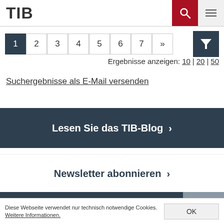TIB
1 2 3 4 5 6 7 »
Ergebnisse anzeigen: 10 | 20 | 50
Suchergebnisse als E-Mail versenden
Lesen Sie das TIB-Blog ›
Newsletter abonnieren ›
Diese Webseite verwendet nur technisch notwendige Cookies. Weitere Informationen.
OK